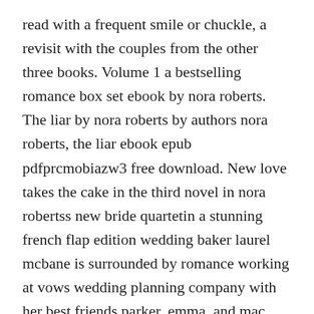read with a frequent smile or chuckle, a revisit with the couples from the other three books. Volume 1 a bestselling romance box set ebook by nora roberts. The liar by nora roberts by authors nora roberts, the liar ebook epub pdfprcmobiazw3 free download. New love takes the cake in the third novel in nora robertss new bride quartetin a stunning french flap edition wedding baker laurel mcbane is surrounded by romance working at vows wedding planning company with her best friends parker, emma, and mac. Nora roberts bride quartet boxed set 2011 read online. The